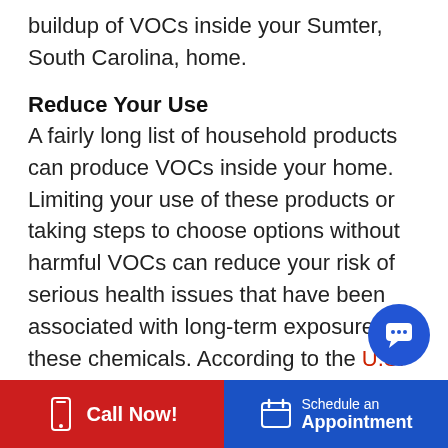buildup of VOCs inside your Sumter, South Carolina, home.
Reduce Your Use
A fairly long list of household products can produce VOCs inside your home. Limiting your use of these products or taking steps to choose options without harmful VOCs can reduce your risk of serious health issues that have been associated with long-term exposure to these chemicals. According to the U.S. National Library of Medicine, some of the most common products to avoid include the following:
Solvents, adhesives and glues.
Call Now! | Schedule an Appointment